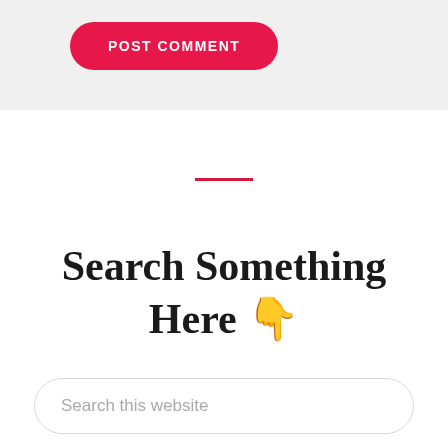[Figure (screenshot): POST COMMENT button — red pill-shaped button with white bold uppercase text on a light gray background header bar]
Search Something Here 👇
[Figure (screenshot): Search input field — rounded pill-shaped search box with placeholder text 'Search this website']